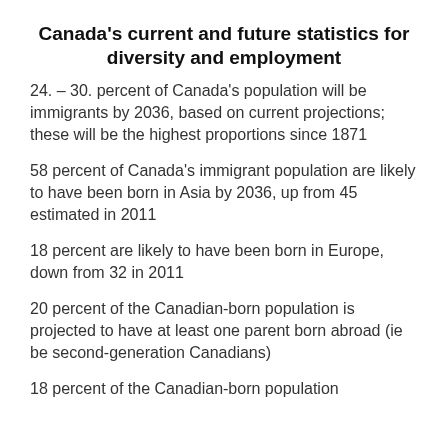Canada's current and future statistics for diversity and employment
24. – 30. percent of Canada's population will be immigrants by 2036, based on current projections; these will be the highest proportions since 1871
58 percent of Canada's immigrant population are likely to have been born in Asia by 2036, up from 45 estimated in 2011
18 percent are likely to have been born in Europe, down from 32 in 2011
20 percent of the Canadian-born population is projected to have at least one parent born abroad (ie be second-generation Canadians)
18 percent of the Canadian-born population…